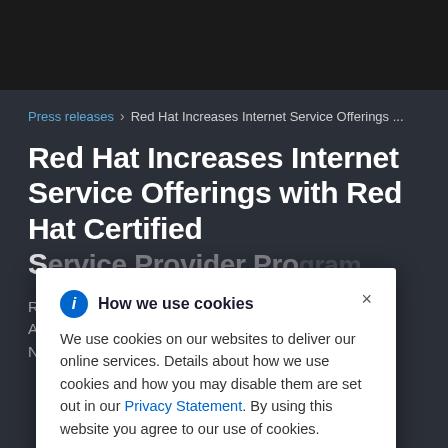Press releases > Red Hat Increases Internet Service Offerings ...
Red Hat Increases Internet Service Offerings with Red Hat Certified Service Provider Program
How we use cookies
We use cookies on our websites to deliver our online services. Details about how we use cookies and how you may disable them are set out in our Privacy Statement. By using this website you agree to our use of cookies.